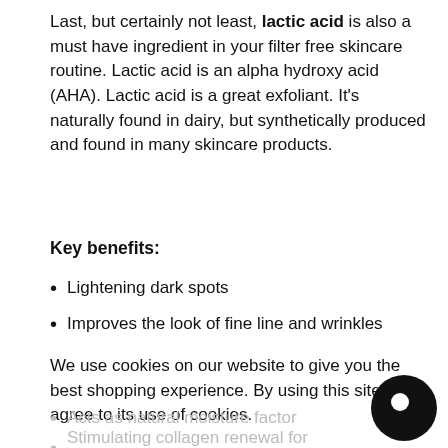Last, but certainly not least, lactic acid is also a must have ingredient in your filter free skincare routine. Lactic acid is an alpha hydroxy acid (AHA). Lactic acid is a great exfoliant. It's naturally found in dairy, but synthetically produced and found in many skincare products.
Key benefits:
Lightening dark spots
Improves the look of fine line and wrinkles
Increases cell turnover
We use cookies on our website to give you the best shopping experience. By using this site, you agree to its use of cookies.
Acts as natural moisture factor
Stimulating collagen renewal for firmness